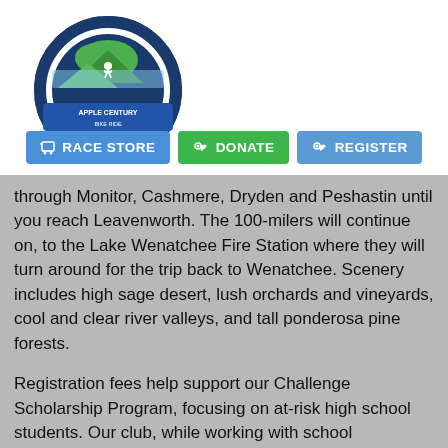[Figure (logo): Apple Century bike ride logo with cyclist and gear imagery]
[Figure (screenshot): Navigation bar with three buttons: RACE STORE (blue), DONATE (green), REGISTER (blue)]
through Monitor, Cashmere, Dryden and Peshastin until you reach Leavenworth. The 100-milers will continue on, to the Lake Wenatchee Fire Station where they will turn around for the trip back to Wenatchee. Scenery includes high sage desert, lush orchards and vineyards, cool and clear river valleys, and tall ponderosa pine forests.
Registration fees help support our Challenge Scholarship Program, focusing on at-risk high school students. Our club, while working with school counselors, identify 10th grade students that are at risk of not graduation high school. After the selection process up to 8 students are paired with mentors (club members) for a two-year period. During the two-year period club members help keep the students on